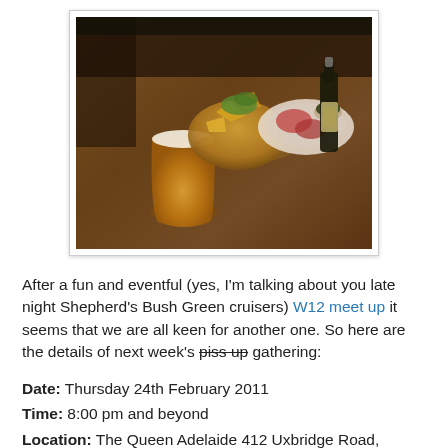[Figure (photo): Photo of pub table with food and drinks: a glass of beer, nachos with toppings, a charcuterie plate, and a beer bottle, on a wooden table in a dimly lit pub setting.]
After a fun and eventful (yes, I'm talking about you late night Shepherd's Bush Green cruisers) W12 meet up it seems that we are all keen for another one. So here are the details of next week's piss-up gathering:
Date: Thursday 24th February 2011
Time: 8:00 pm and beyond
Location: The Queen Adelaide 412 Uxbridge Road, London, W12 0NR. Oooh, hark! A new venue! One for the Uxbridge